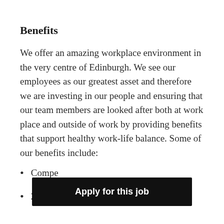Benefits
We offer an amazing workplace environment in the very centre of Edinburgh. We see our employees as our greatest asset and therefore we are investing in our people and ensuring that our team members are looked after both at work place and outside of work by providing benefits that support healthy work-life balance. Some of our benefits include:
Compe[titive salary]
25 days annual leave (+bank holidays)